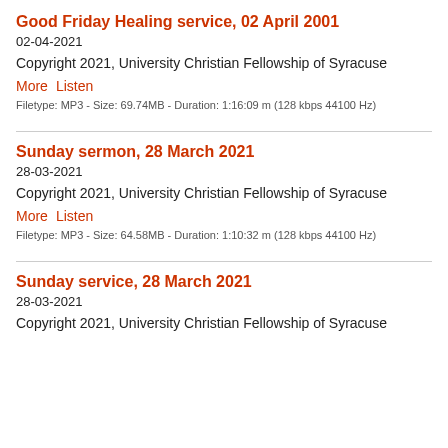Good Friday Healing service, 02 April 2001
02-04-2021
Copyright 2021, University Christian Fellowship of Syracuse
More   Listen
Filetype: MP3 - Size: 69.74MB - Duration: 1:16:09 m (128 kbps 44100 Hz)
Sunday sermon, 28 March 2021
28-03-2021
Copyright 2021, University Christian Fellowship of Syracuse
More   Listen
Filetype: MP3 - Size: 64.58MB - Duration: 1:10:32 m (128 kbps 44100 Hz)
Sunday service, 28 March 2021
28-03-2021
Copyright 2021, University Christian Fellowship of Syracuse